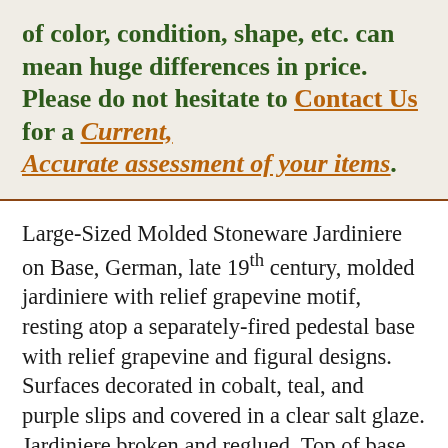of color, condition, shape, etc. can mean huge differences in price. Please do not hesitate to Contact Us for a Current, Accurate assessment of your items.
Large-Sized Molded Stoneware Jardiniere on Base, German, late 19th century, molded jardiniere with relief grapevine motif, resting atop a separately-fired pedestal base with relief grapevine and figural designs. Surfaces decorated in cobalt, teal, and purple slips and covered in a clear salt glaze. Jardiniere broken and reglued. Top of base with large loss and cracks. Chips to relief decoration. Short crack to bottom of base. H 43".